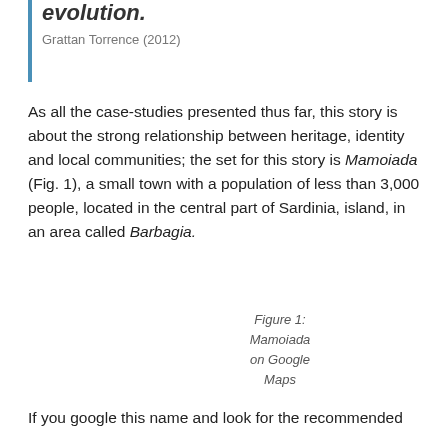evolution.
Grattan Torrence (2012)
As all the case-studies presented thus far, this story is about the strong relationship between heritage, identity and local communities; the set for this story is Mamoiada (Fig. 1), a small town with a population of less than 3,000 people, located in the central part of Sardinia, island, in an area called Barbagia.
Figure 1: Mamoiada on Google Maps
If you google this name and look for the recommended